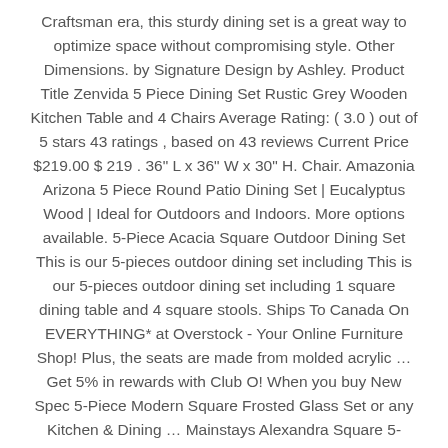Craftsman era, this sturdy dining set is a great way to optimize space without compromising style. Other Dimensions. by Signature Design by Ashley. Product Title Zenvida 5 Piece Dining Set Rustic Grey Wooden Kitchen Table and 4 Chairs Average Rating: ( 3.0 ) out of 5 stars 43 ratings , based on 43 reviews Current Price $219.00 $ 219 . 36" L x 36" W x 30" H. Chair. Amazonia Arizona 5 Piece Round Patio Dining Set | Eucalyptus Wood | Ideal for Outdoors and Indoors. More options available. 5-Piece Acacia Square Outdoor Dining Set This is our 5-pieces outdoor dining set including This is our 5-pieces outdoor dining set including 1 square dining table and 4 square stools. Ships To Canada On EVERYTHING* at Overstock - Your Online Furniture Shop! Plus, the seats are made from molded acrylic … Get 5% in rewards with Club O! When you buy New Spec 5-Piece Modern Square Frosted Glass Set or any Kitchen & Dining … Mainstays Alexandra Square 5-Piece Patio Dining Set, Red Stripe with Butterflies, Seats 4. view details add to brochure. Product Description. Chairs feature durable gray sling fabric...